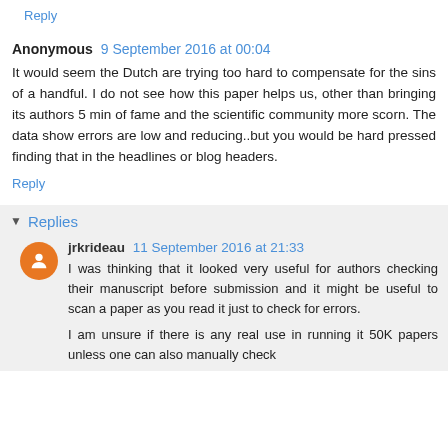Reply
Anonymous  9 September 2016 at 00:04
It would seem the Dutch are trying too hard to compensate for the sins of a handful. I do not see how this paper helps us, other than bringing its authors 5 min of fame and the scientific community more scorn. The data show errors are low and reducing..but you would be hard pressed finding that in the headlines or blog headers.
Reply
Replies
jrkrideau  11 September 2016 at 21:33
I was thinking that it looked very useful for authors checking their manuscript before submission and it might be useful to scan a paper as you read it just to check for errors.
I am unsure if there is any real use in running it 50K papers unless one can also manually check